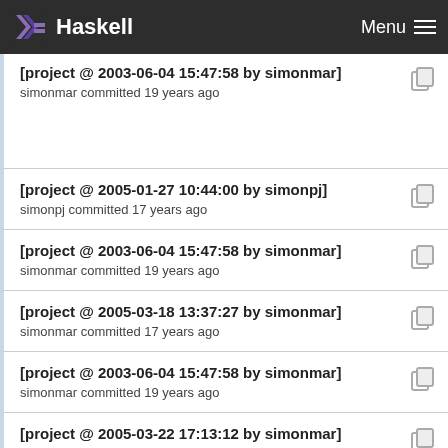Haskell  Menu
[project @ 2003-06-04 15:47:58 by simonmar]
simonmar committed 19 years ago
[project @ 2005-01-27 10:44:00 by simonpj]
simonpj committed 17 years ago
[project @ 2003-06-04 15:47:58 by simonmar]
simonmar committed 19 years ago
[project @ 2005-03-18 13:37:27 by simonmar]
simonmar committed 17 years ago
[project @ 2003-06-04 15:47:58 by simonmar]
simonmar committed 19 years ago
[project @ 2005-03-22 17:13:12 by simonmar]
simonmar committed 17 years ago